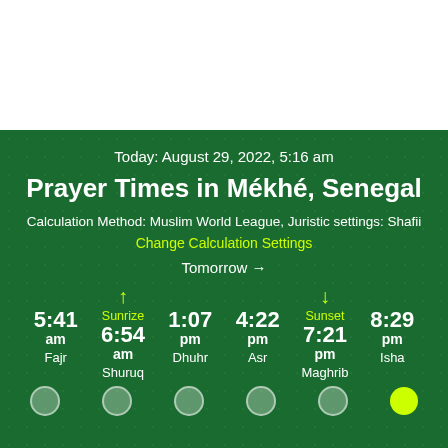Today: August 29, 2022, 5:16 am
Prayer Times in Mékhé, Senegal
Calculation Method: Muslim World League, Juristic settings: Shafii
Change Calculation Settings
Tomorrow →
| Fajr | Shuruq | Dhuhr | Asr | Maghrib | Isha |
| --- | --- | --- | --- | --- | --- |
| 5:41 am | 6:54 am | 1:07 pm | 4:22 pm | 7:21 pm | 8:29 pm |